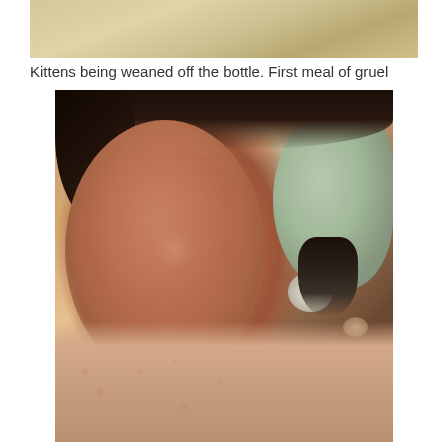[Figure (photo): Top portion of a photo showing what appears to be a plate or bowl with food, cropped at the top of the page]
Kittens being weaned off the bottle. First meal of gruel
[Figure (photo): A woman lying down on a floral pillow with a small opossum or similar small animal nestled against her cheek. She has dark hair and is resting on a patterned pillow. A gray-green wrapped bundle is visible behind her head.]